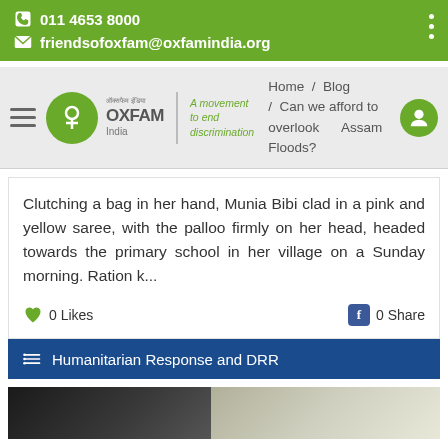011 4653 8000 | friendsofoxfam@oxfamindia.org
[Figure (screenshot): Oxfam India navigation bar with logo, hamburger menu, and breadcrumb: Home / Blog / Can we afford to overlook Assam Floods?]
Clutching a bag in her hand, Munia Bibi clad in a pink and yellow saree, with the palloo firmly on her head, headed towards the primary school in her village on a Sunday morning. Ration k...
0 Likes    0 Share
Humanitarian Response and DRR
[Figure (photo): Bottom image strip showing partial photographs]